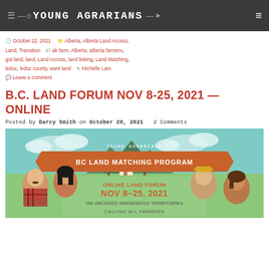YOUNG AGRARIANS
October 22, 2021  Alberta, Alberta Land Access, Land, Transition  ab farm, Alberta, alberta farmers, got land, land, Land Access, land linking, Land Matching, leduc, leduc county, want land  Michelle Lam  Leave a comment
B.C. LAND FORUM NOV 8-25, 2021 — ONLINE
Posted by Darcy Smith on October 20, 2021  2 Comments
[Figure (illustration): Young Agrarians BC Land Matching Program promotional image showing illustrated farmers with text 'ONLINE LAND FORUM NOV 8-25, 2021 ON UNCEDED INDIGENOUS TERRITORIES CALLING ALL FARMERS']